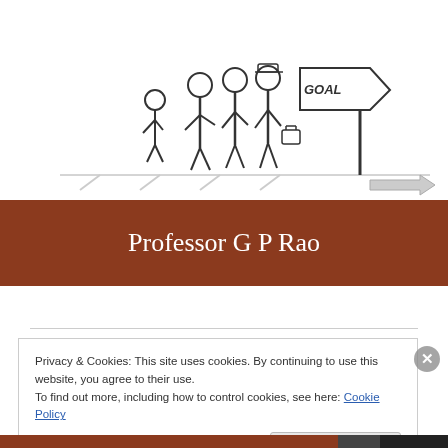[Figure (illustration): Black and white sketch illustration of a group of people including adults and a child walking together, with a signpost pointing right labeled 'GOAL']
Professor G P Rao
Privacy & Cookies: This site uses cookies. By continuing to use this website, you agree to their use.
To find out more, including how to control cookies, see here: Cookie Policy